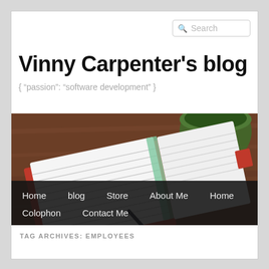Search
Vinny Carpenter’s blog
{ “passion”: “software development” }
[Figure (photo): Photo of a notepad with a pen and a green coffee cup on a wooden table, used as a blog header banner image.]
Home
blog
Store
About Me
Home
Colophon
Contact Me
TAG ARCHIVES: EMPLOYEES